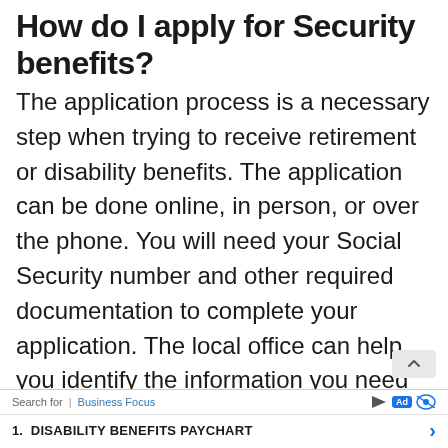How do I apply for Security benefits?
The application process is a necessary step when trying to receive retirement or disability benefits. The application can be done online, in person, or over the phone. You will need your Social Security number and other required documentation to complete your application. The local office can help you identify the information you need to complete the application.
Search for | Business Focus  Ad  1. DISABILITY BENEFITS PAYCHART ›